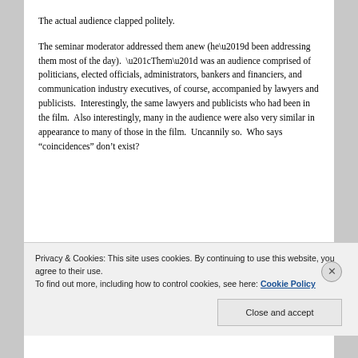The actual audience clapped politely.
The seminar moderator addressed them anew (he’d been addressing them most of the day).  “Them” was an audience comprised of politicians, elected officials, administrators, bankers and financiers, and communication industry executives, of course, accompanied by lawyers and publicists.  Interestingly, the same lawyers and publicists who had been in the film.  Also interestingly, many in the audience were also very similar in appearance to many of those in the film.  Uncannily so.  Who says “coincidences” don’t exist?
Privacy & Cookies: This site uses cookies. By continuing to use this website, you agree to their use.
To find out more, including how to control cookies, see here: Cookie Policy
Close and accept